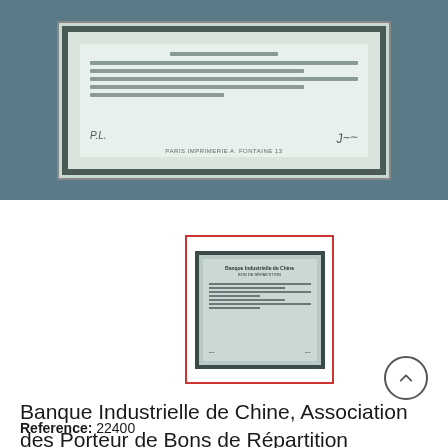[Figure (photo): Large scanned image of a historical French financial document with ornate border, text lines, and signatures, shown at the top of the page against a blue-grey background.]
[Figure (photo): Thumbnail of a historical Banque Industrielle de Chine bond or certificate document, with ornate dark border and handwritten text, shown inside a red-bordered frame.]
Banque Industrielle de Chine, Association des Porteur de Bons de Répartition Chirographaires
Reference: 22400